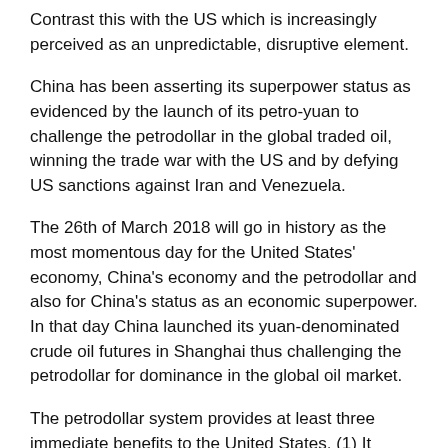Contrast this with the US which is increasingly perceived as an unpredictable, disruptive element.
China has been asserting its superpower status as evidenced by the launch of its petro-yuan to challenge the petrodollar in the global traded oil, winning the trade war with the US and by defying US sanctions against Iran and Venezuela.
The 26th of March 2018 will go in history as the most momentous day for the United States' economy, China's economy and the petrodollar and also for China's status as an economic superpower. In that day China launched its yuan-denominated crude oil futures in Shanghai thus challenging the petrodollar for dominance in the global oil market.
The petrodollar system provides at least three immediate benefits to the United States. (1) It increases global demand